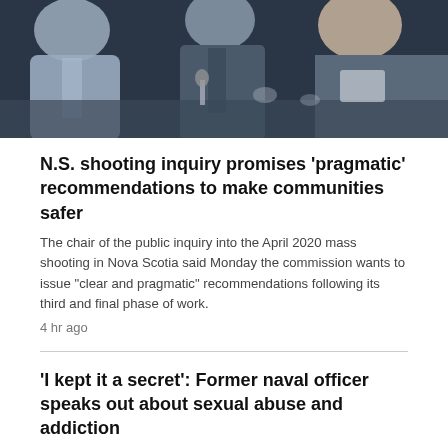[Figure (photo): Photo of people seated at what appears to be a hearing or inquiry, with a man in a suit visible in the center.]
N.S. shooting inquiry promises 'pragmatic' recommendations to make communities safer
The chair of the public inquiry into the April 2020 mass shooting in Nova Scotia said Monday the commission wants to issue "clear and pragmatic" recommendations following its third and final phase of work.
4 hr ago
'I kept it a secret': Former naval officer speaks out about sexual abuse and addiction
5 hr ago
Milk to cost 6.5 cents more per litre in New Brunswick starting Sept. 1